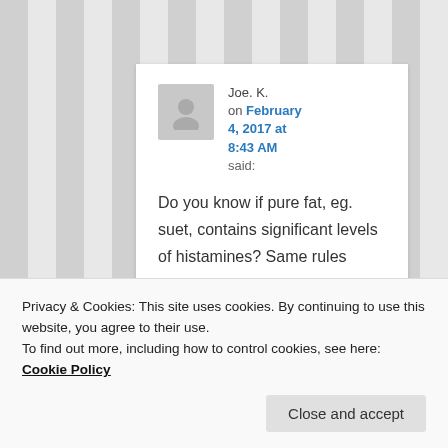Joe. K. on February 4, 2017 at 8:43 AM said:
Do you know if pure fat, eg. suet, contains significant levels of histamines? Same rules apply
Privacy & Cookies: This site uses cookies. By continuing to use this website, you agree to their use.
To find out more, including how to control cookies, see here: Cookie Policy